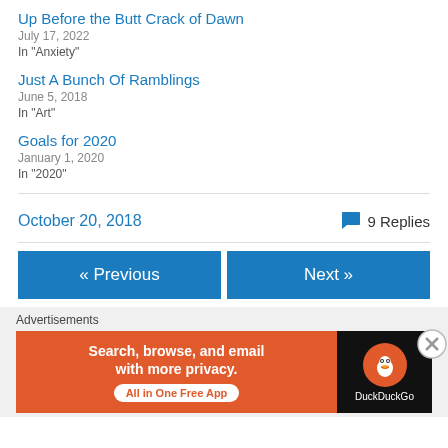Up Before the Butt Crack of Dawn
July 17, 2022
In "Anxiety"
Just A Bunch Of Ramblings
June 5, 2018
In "Art"
Goals for 2020
January 1, 2020
In "2020"
October 20, 2018
9 Replies
« Previous
Next »
Advertisements
[Figure (infographic): DuckDuckGo advertisement banner: 'Search, browse, and email with more privacy. All in One Free App' with DuckDuckGo logo on dark background]